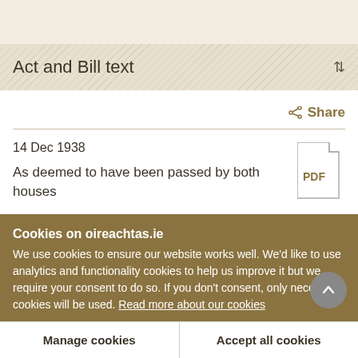Act and Bill text
Share
14 Dec 1938
As deemed to have been passed by both houses
Cookies on oireachtas.ie
We use cookies to ensure our website works well. We'd like to use analytics and functionality cookies to help us improve it but we require your consent to do so. If you don't consent, only necessary cookies will be used. Read more about our cookies
Manage cookies
Accept all cookies